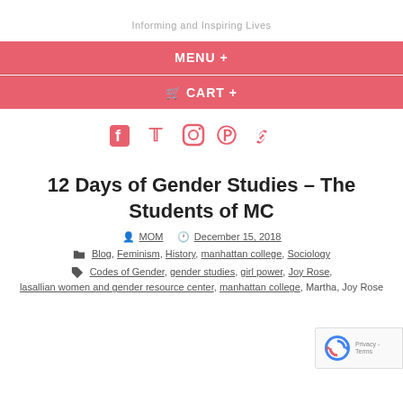Informing and Inspiring Lives
MENU +
🛒 CART +
[Figure (illustration): Social media icons: Facebook, Twitter, Instagram, Pinterest, Link]
12 Days of Gender Studies – The Students of MC
MOM  December 15, 2018
Blog, Feminism, History, manhattan college, Sociology
Codes of Gender, gender studies, girl power, Joy Rose,
lasallian women and gender resource center, manhattan college, Martha, Joy Rose